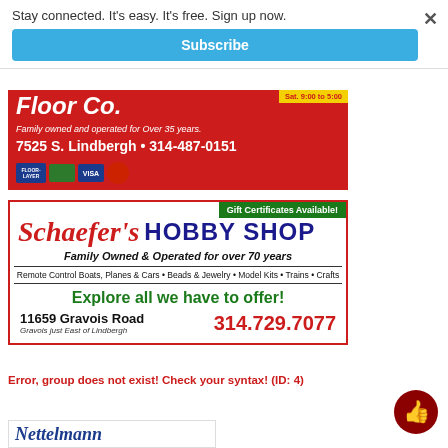Stay connected. It's easy. It's free. Sign up now.
Subscribe
[Figure (infographic): Floor Co. advertisement on red background. Text: 'Family owned and operated for Over 35 years. 7525 S. Lindbergh • 314-487-0151'. Payment card logos shown.]
[Figure (infographic): Schaefer's Hobby Shop advertisement. Green banner: Gift Certificates Available! Title in red italic: Schaefer's and blue bold: HOBBY SHOP. Tagline: Family Owned & Operated for over 70 years. Products: Remote Control Boats, Planes & Cars • Beads & Jewelry • Model Kits • Trains • Crafts. Green text: Explore all we have to offer! Address: 11659 Gravois Road, Gravois just East of Lindbergh. Phone: 314.729.7077]
Error, group does not exist! Check your syntax! (ID: 4)
[Figure (infographic): Partial view of Nettelmann advertisement at bottom of page.]